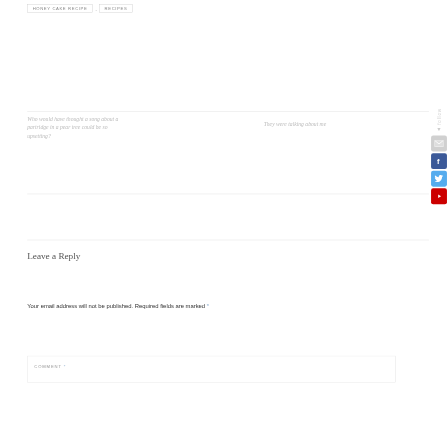HONEY CAKE RECIPE , RECIPES
Who would have thought a song about a partridge in a pear tree could be so upsetting?
They were talking about me
Leave a Reply
Your email address will not be published. Required fields are marked *
COMMENT *